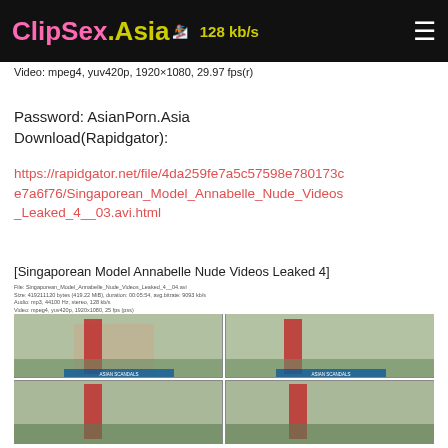ClipSex.Asia — 128 kb/s
Video: mpeg4, yuv420p, 1920×1080, 29.97 fps(r)
Password: AsianPorn.Asia
Download(Rapidgator):
https://rapidgator.net/file/4da259fe7a5c57598e780173ce7a6f76/Singaporean_Model_Annabelle_Nude_Videos_Leaked_4__03.avi.html
Singaporean Model Annabelle Nude Videos Leaked 4
[Figure (screenshot): Four-panel video screenshot grid showing a woman in a red dress outdoors]